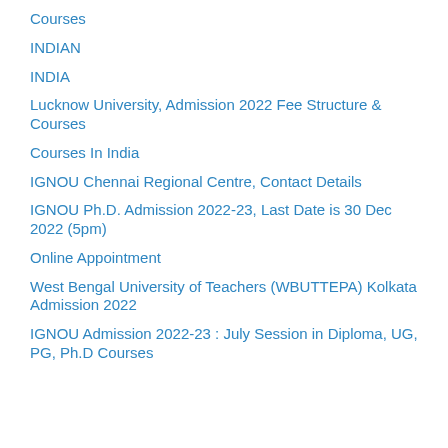Courses
INDIAN
INDIA
Lucknow University, Admission 2022 Fee Structure & Courses
Courses In India
IGNOU Chennai Regional Centre, Contact Details
IGNOU Ph.D. Admission 2022-23, Last Date is 30 Dec 2022 (5pm)
Online Appointment
West Bengal University of Teachers (WBUTTEPA) Kolkata Admission 2022
IGNOU Admission 2022-23 : July Session in Diploma, UG, PG, Ph.D Courses